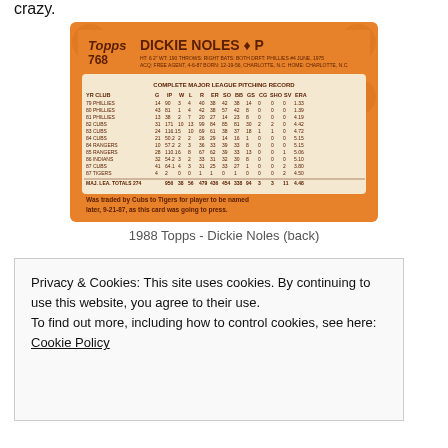crazy.
[Figure (photo): 1988 Topps baseball card back for Dickie Noles, card #768, showing complete major league pitching record stats on orange background]
1988 Topps - Dickie Noles (back)
Privacy & Cookies: This site uses cookies. By continuing to use this website, you agree to their use.
To find out more, including how to control cookies, see here: Cookie Policy